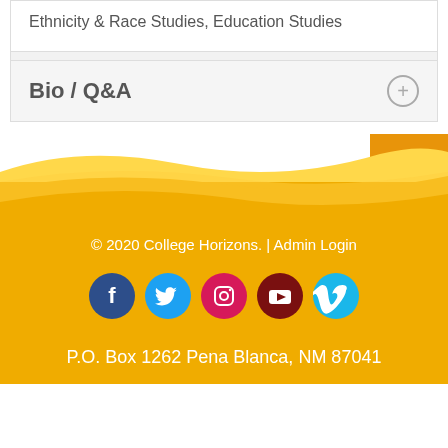Ethnicity & Race Studies, Education Studies
Bio / Q&A
[Figure (illustration): Decorative yellow wave/curve design forming footer background with orange accent block in upper right]
© 2020 College Horizons. | Admin Login
[Figure (infographic): Row of 5 social media icons: Facebook (dark blue), Twitter (light blue), Instagram (pink/magenta), YouTube (dark red), Vimeo (light blue)]
P.O. Box 1262 Pena Blanca, NM 87041